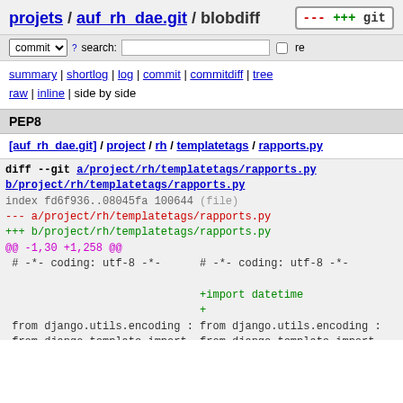projets / auf_rh_dae.git / blobdiff
commit search: re
summary | shortlog | log | commit | commitdiff | tree
raw | inline | side by side
PEP8
[auf_rh_dae.git] / project / rh / templatetags / rapports.py
diff --git a/project/rh/templatetags/rapports.py b/project/rh/templatetags/rapports.py
index fd6f936..08045fa 100644 (file)
--- a/project/rh/templatetags/rapports.py
+++ b/project/rh/templatetags/rapports.py
@@ -1,30 +1,258 @@
 # -*- coding: utf-8 -*-       # -*- coding: utf-8 -*-

                               +import datetime
                               +
 from django.utils.encoding : from django.utils.encoding :
 from django.template import  from django.template import
 from django.utils.http impo  from django.utils.http impo

-from datamaster_modeles.mode+from auf.django.references.r
                               +         Implantation, Regio
                               +
                               +from project import groupe